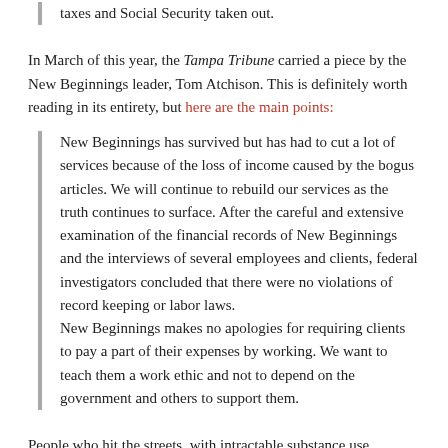taxes and Social Security taken out.
In March of this year, the Tampa Tribune carried a piece by the New Beginnings leader, Tom Atchison. This is definitely worth reading in its entirety, but here are the main points:
New Beginnings has survived but has had to cut a lot of services because of the loss of income caused by the bogus articles. We will continue to rebuild our services as the truth continues to surface. After the careful and extensive examination of the financial records of New Beginnings and the interviews of several employees and clients, federal investigators concluded that there were no violations of record keeping or labor laws.
New Beginnings makes no apologies for requiring clients to pay a part of their expenses by working. We want to teach them a work ethic and not to depend on the government and others to support them.
People who hit the streets, with intractable substance use problems, are often not angels. It would be foolish to pretend otherwise. Such difficult people tend to want everything handed to them, and react badly to rules like “work or move out”—an attitude that could account for the troubles that originally set them on the path to a last-resort rehab center. Everyone deserves a second chance, but people who answer the call to be in the